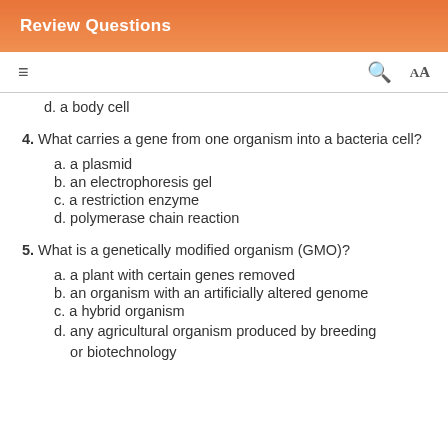Review Questions
d. a body cell
4. What carries a gene from one organism into a bacteria cell?
a. a plasmid
b. an electrophoresis gel
c. a restriction enzyme
d. polymerase chain reaction
5. What is a genetically modified organism (GMO)?
a. a plant with certain genes removed
b. an organism with an artificially altered genome
c. a hybrid organism
d. any agricultural organism produced by breeding or biotechnology